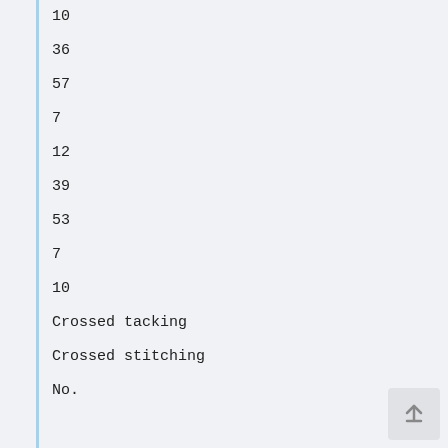10
36
57
7
12
39
53
7
10
Crossed tacking
Crossed stitching
No.